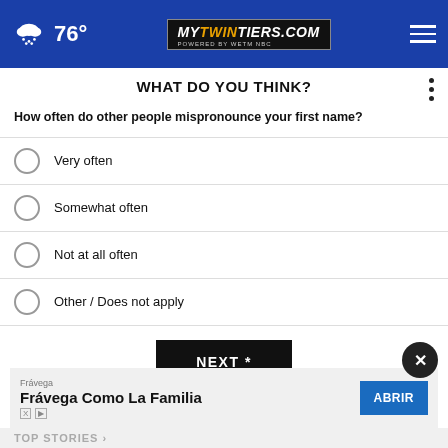[Figure (screenshot): Website header with blue background showing weather icon (cloud with rain), temperature 76°, MyTwinTiers.com logo, and hamburger menu icon]
WHAT DO YOU THINK?
How often do other people mispronounce your first name?
Very often
Somewhat often
Not at all often
Other / Does not apply
NEXT *
* By clicking "NEXT" you agree to the following: We use cookies to track your survey answers. If you would like to continue with this survey, please read and agree to the CivicScience Privacy Policy and Terms of Service
[Figure (screenshot): Advertisement banner for Frávega showing 'Frávega Como La Familia' with ABRIR button]